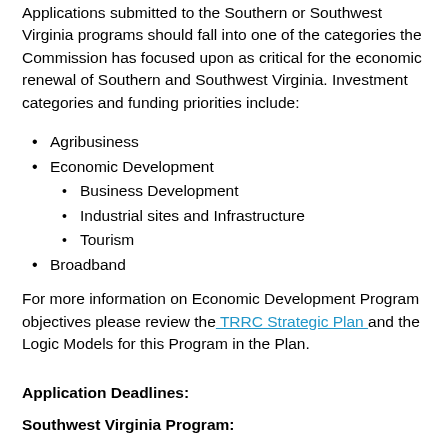Applications submitted to the Southern or Southwest Virginia programs should fall into one of the categories the Commission has focused upon as critical for the economic renewal of Southern and Southwest Virginia. Investment categories and funding priorities include:
Agribusiness
Economic Development
Business Development
Industrial sites and Infrastructure
Tourism
Broadband
For more information on Economic Development Program objectives please review the TRRC Strategic Plan and the Logic Models for this Program in the Plan.
Application Deadlines:
Southwest Virginia Program: